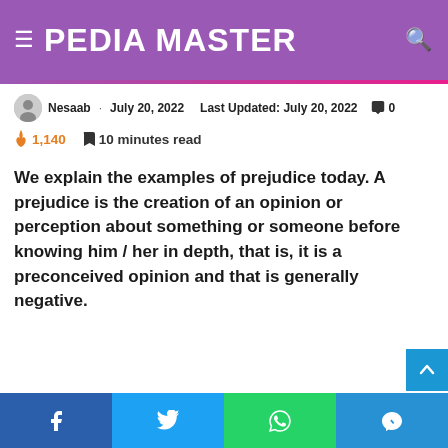PEDIA MASTER
Nesaab · July 20, 2022  Last Updated: July 20, 2022  0
1,140  10 minutes read
We explain the examples of prejudice today. A prejudice is the creation of an opinion or perception about something or someone before knowing him / her in depth, that is, it is a preconceived opinion and that is generally negative.